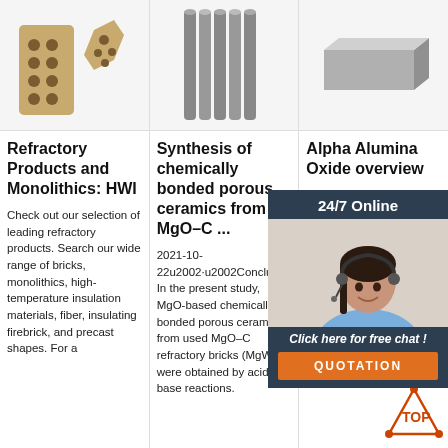[Figure (photo): Three product images in a row: refractory brick hexagonal shapes, gray cylindrical rods, and a flat gray block/slab]
Refractory Products and Monolithics: HWI
Check out our selection of leading refractory products. Search our wide range of bricks, monolithics, high-temperature insulation materials, fiber, insulating firebrick, and precast shapes. For a
Synthesis of chemically bonded porous ceramics from MgO–C ...
2021-10-22u2002·u2002Conclusion In the present study, MgO-based chemically bonded porous ceramics from used MgO–C refractory bricks (MgW) were obtained by acid-base reactions.
Alpha Alumina Oxide overview
The clinical applications of alumina, biocompatibility, density and wear resistance. Alumina (aluminum oxide Al 2 O 3) may occur in many metastable
[Figure (photo): 24/7 Online customer support agent overlay panel with chat button and QUOTATION button]
[Figure (logo): Top icon/logo in bottom right corner with orange dot pattern and TOP text]